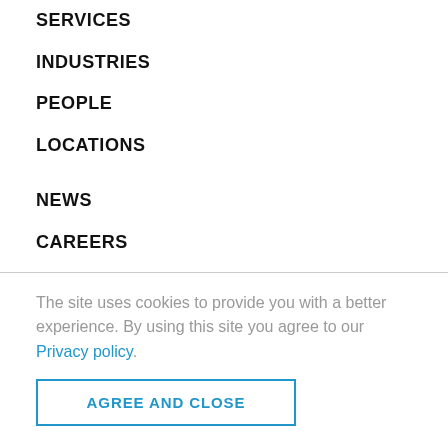SERVICES
INDUSTRIES
PEOPLE
LOCATIONS
NEWS
CAREERS
The site uses cookies to provide you with a better experience. By using this site you agree to our Privacy policy.
AGREE AND CLOSE